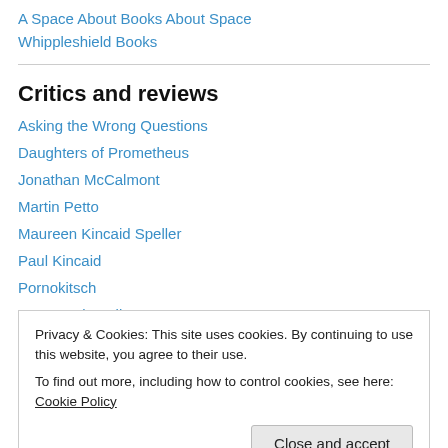A Space About Books About Space
Whippleshield Books
Critics and reviews
Asking the Wrong Questions
Daughters of Prometheus
Jonathan McCalmont
Martin Petto
Maureen Kincaid Speller
Paul Kincaid
Pornokitsch
SF Encyclopedia
Privacy & Cookies: This site uses cookies. By continuing to use this website, you agree to their use.
To find out more, including how to control cookies, see here: Cookie Policy
Asthornet